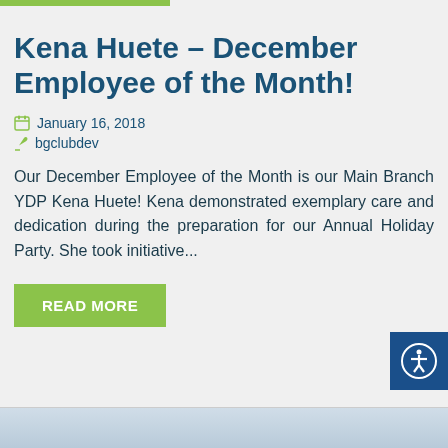Kena Huete – December Employee of the Month!
January 16, 2018
bgclubdev
Our December Employee of the Month is our Main Branch YDP Kena Huete! Kena demonstrated exemplary care and dedication during the preparation for our Annual Holiday Party. She took initiative...
READ MORE
[Figure (photo): Bottom portion of page showing a gymnasium or sports facility interior, partially visible]